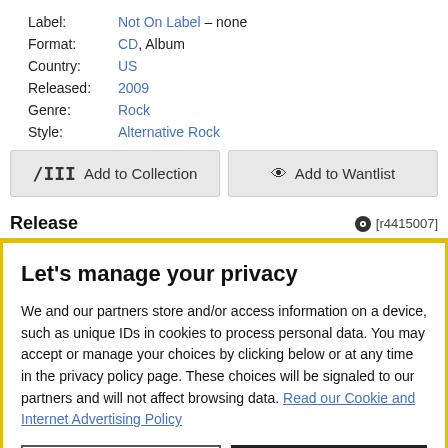Label: Not On Label – none
Format: CD, Album
Country: US
Released: 2009
Genre: Rock
Style: Alternative Rock
Add to Collection | Add to Wantlist
Release
[r4415007]
Let's manage your privacy
We and our partners store and/or access information on a device, such as unique IDs in cookies to process personal data. You may accept or manage your choices by clicking below or at any time in the privacy policy page. These choices will be signaled to our partners and will not affect browsing data. Read our Cookie and Internet Advertising Policy